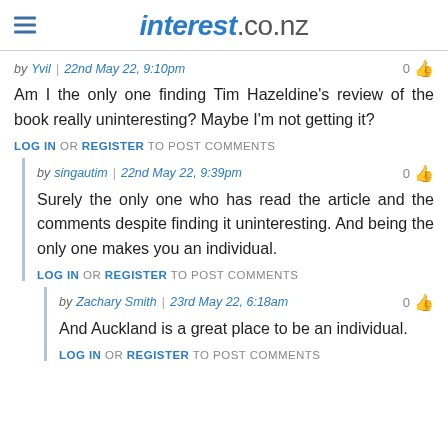interest.co.nz
by Yvil | 22nd May 22, 9:10pm — 0 👍
Am I the only one finding Tim Hazeldine's review of the book really uninteresting?  Maybe I'm not getting it?
LOG IN OR REGISTER TO POST COMMENTS
by singautim | 22nd May 22, 9:39pm — 0 👍
Surely the only one who has read the article and the comments despite finding it uninteresting.  And being the only one makes you an individual.
LOG IN OR REGISTER TO POST COMMENTS
by Zachary Smith | 23rd May 22, 6:18am — 0 👍
And Auckland is a great place to be an individual.
LOG IN OR REGISTER TO POST COMMENTS